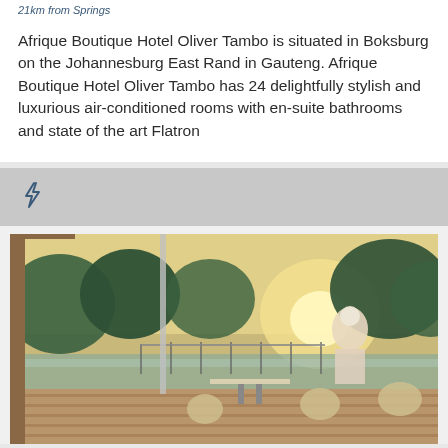21km from Springs
Afrique Boutique Hotel Oliver Tambo is situated in Boksburg on the Johannesburg East Rand in Gauteng. Afrique Boutique Hotel Oliver Tambo has 24 delightfully stylish and luxurious air-conditioned rooms with en-suite bathrooms and state of the art Flatron
[Figure (photo): A person standing on a wooden deck terrace overlooking a lake or pond, surrounded by trees. Outdoor patio furniture including tables and ornate chairs visible on the deck. Photo taken at golden hour/sunset.]